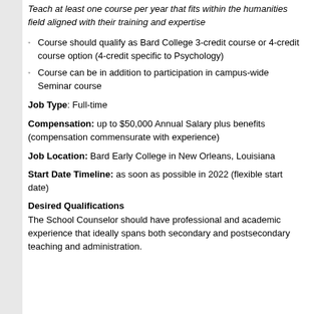Teach at least one course per year that fits within the humanities field aligned with their training and expertise
Course should qualify as Bard College 3-credit course or 4-credit course option (4-credit specific to Psychology)
Course can be in addition to participation in campus-wide Seminar course
Job Type: Full-time
Compensation: up to $50,000 Annual Salary plus benefits (compensation commensurate with experience)
Job Location: Bard Early College in New Orleans, Louisiana
Start Date Timeline: as soon as possible in 2022 (flexible start date)
Desired Qualifications
The School Counselor should have professional and academic experience that ideally spans both secondary and postsecondary teaching and administration.